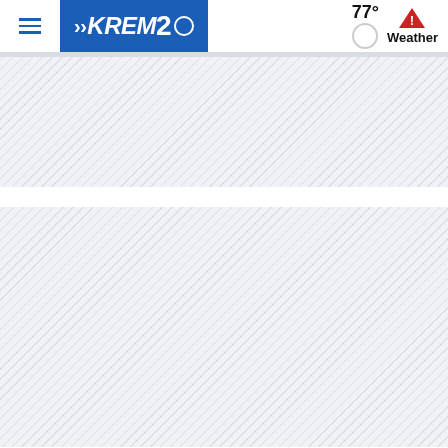[Figure (screenshot): KREM 2 news website navigation bar with hamburger menu, KREM2 CBS logo in blue, and weather widget showing 77 degrees with warning icon and Weather label]
[Figure (other): Hatched/diagonal striped placeholder content area below the navigation bar, indicating loading or empty content regions]